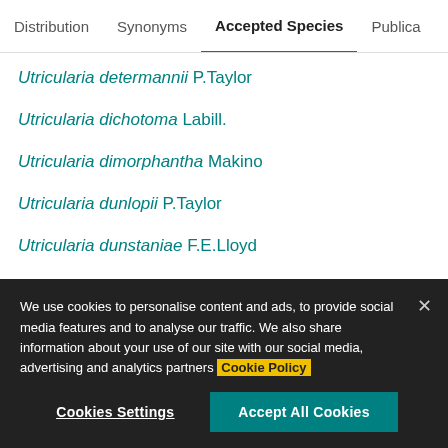Distribution  Synonyms  Accepted Species  Publica
Utricularia determannii P.Taylor
Utricularia dichotoma Labill.
Utricularia dimorphantha Makino
Utricularia dunlopii P.Taylor
Utricularia dunstaniae F.E.Lloyd
Utricularia endresii Rchb.f.
Utricularia erectiflora A.St.-Hil. & Girard
We use cookies to personalise content and ads, to provide social media features and to analyse our traffic. We also share information about your use of our site with our social media, advertising and analytics partners Cookie Policy
Cookies Settings  Accept All Cookies